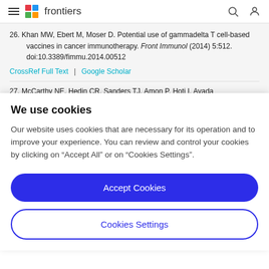frontiers
26. Khan MW, Ebert M, Moser D. Potential use of gammadelta T cell-based vaccines in cancer immunotherapy. Front Immunol (2014) 5:512. doi:10.3389/fimmu.2014.00512
CrossRef Full Text | Google Scholar
27. McCarthy NE, Hedin CR, Sanders TJ, Amon P, Hoti I, Avada
We use cookies
Our website uses cookies that are necessary for its operation and to improve your experience. You can review and control your cookies by clicking on "Accept All" or on "Cookies Settings".
Accept Cookies
Cookies Settings